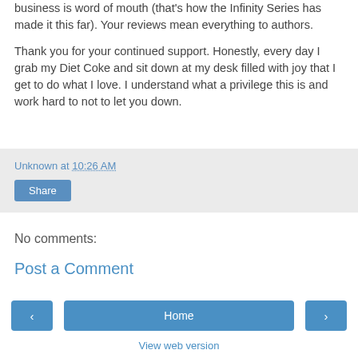business is word of mouth (that's how the Infinity Series has made it this far). Your reviews mean everything to authors.
Thank you for your continued support. Honestly, every day I grab my Diet Coke and sit down at my desk filled with joy that I get to do what I love. I understand what a privilege this is and work hard to not to let you down.
Unknown at 10:26 AM
Share
No comments:
Post a Comment
‹
Home
›
View web version